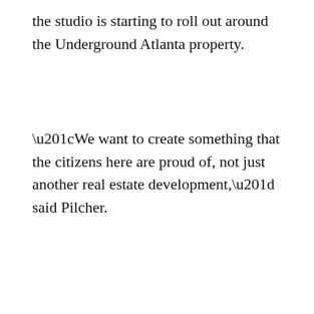the studio is starting to roll out around the Underground Atlanta property.
“We want to create something that the citizens here are proud of, not just another real estate development,” said Pilcher.
The Creative Carts Collective will be held Saturdays
[Figure (screenshot): Newsletter signup banner with blue background, city skyline photo on left, and bold white text 'Join our daily newsletter list!' with an X close button in the top right corner.]
[Figure (screenshot): Advertisement for Official NFL Gear from www.nflshop.com with blue arrow button on right and close button in top right corner.]